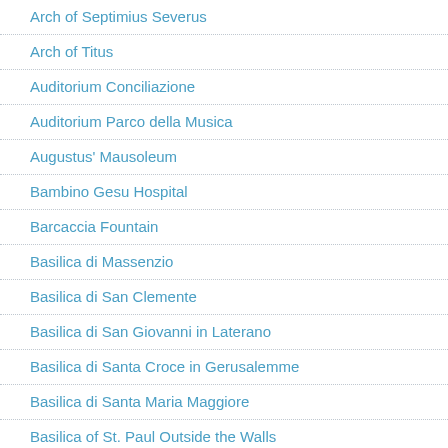Arch of Septimius Severus
Arch of Titus
Auditorium Conciliazione
Auditorium Parco della Musica
Augustus' Mausoleum
Bambino Gesu Hospital
Barcaccia Fountain
Basilica di Massenzio
Basilica di San Clemente
Basilica di San Giovanni in Laterano
Basilica di Santa Croce in Gerusalemme
Basilica di Santa Maria Maggiore
Basilica of St. Paul Outside the Walls